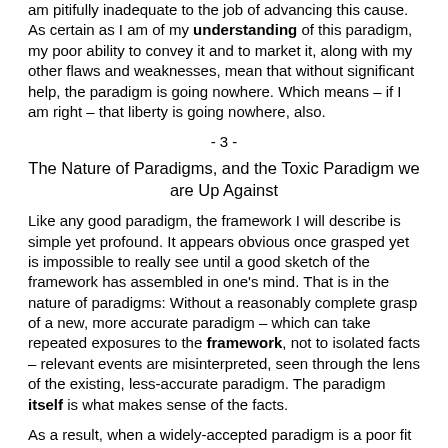am pitifully inadequate to the job of advancing this cause. As certain as I am of my understanding of this paradigm, my poor ability to convey it and to market it, along with my other flaws and weaknesses, mean that without significant help, the paradigm is going nowhere. Which means – if I am right – that liberty is going nowhere, also.
- 3 -
The Nature of Paradigms, and the Toxic Paradigm we are Up Against
Like any good paradigm, the framework I will describe is simple yet profound. It appears obvious once grasped yet is impossible to really see until a good sketch of the framework has assembled in one's mind. That is in the nature of paradigms: Without a reasonably complete grasp of a new, more accurate paradigm – which can take repeated exposures to the framework, not to isolated facts – relevant events are misinterpreted, seen through the lens of the existing, less-accurate paradigm. The paradigm itself is what makes sense of the facts.
As a result, when a widely-accepted paradigm is a poor fit to reality, new data and experience often add confusion instead of wisdom. Over time the existing paradigm becomes ever-more convoluted and self-contradictory as